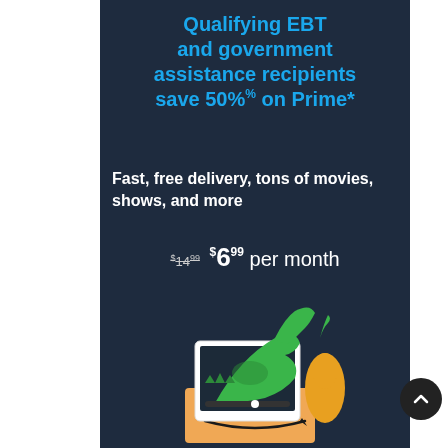Qualifying EBT and government assistance recipients save 50% on Prime*
Fast, free delivery, tons of movies, shows, and more
$14.99 $6.99 per month
[Figure (illustration): Amazon Prime promotional illustration showing a tablet with a green alligator/dinosaur character emerging from an Amazon delivery box, with a yellow gourd/squash beside it.]